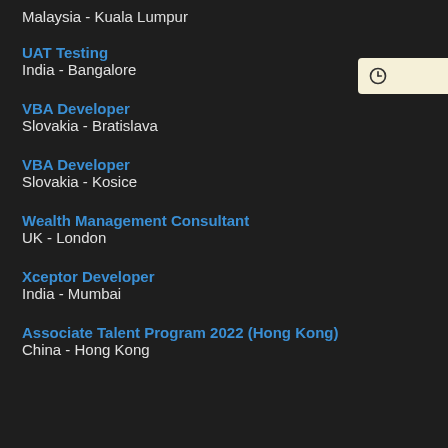Malaysia - Kuala Lumpur
UAT Testing
India - Bangalore
VBA Developer
Slovakia - Bratislava
VBA Developer
Slovakia - Kosice
Wealth Management Consultant
UK - London
Xceptor Developer
India - Mumbai
Associate Talent Program 2022 (Hong Kong)
China - Hong Kong